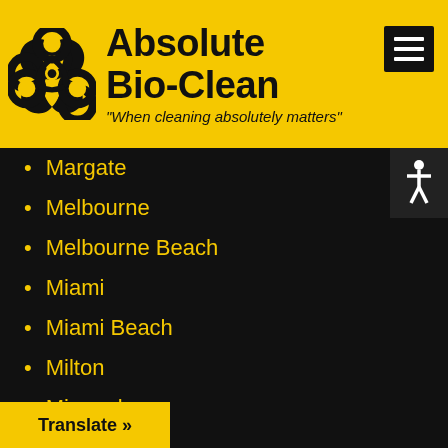[Figure (logo): Absolute Bio-Clean company logo with biohazard symbol on yellow background and tagline 'When cleaning absolutely matters']
Margate
Melbourne
Melbourne Beach
Miami
Miami Beach
Milton
Minneola
Miramar
Mount Dora
Naples
Neptune Beach
New Port Richey
Translate »